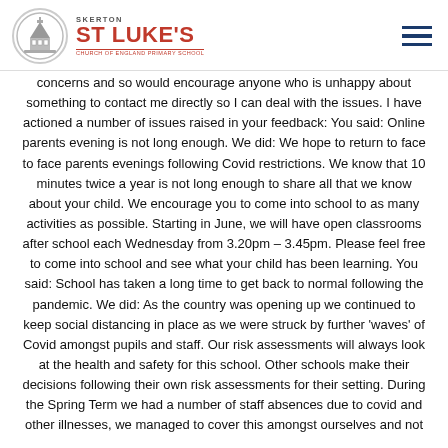Skerton St Luke's Church of England Primary School
concerns and so would encourage anyone who is unhappy about something to contact me directly so I can deal with the issues. I have actioned a number of issues raised in your feedback: You said: Online parents evening is not long enough. We did: We hope to return to face to face parents evenings following Covid restrictions. We know that 10 minutes twice a year is not long enough to share all that we know about your child. We encourage you to come into school to as many activities as possible. Starting in June, we will have open classrooms after school each Wednesday from 3.20pm – 3.45pm. Please feel free to come into school and see what your child has been learning. You said: School has taken a long time to get back to normal following the pandemic. We did: As the country was opening up we continued to keep social distancing in place as we were struck by further 'waves' of Covid amongst pupils and staff. Our risk assessments will always look at the health and safety for this school. Other schools make their decisions following their own risk assessments for their setting. During the Spring Term we had a number of staff absences due to covid and other illnesses, we managed to cover this amongst ourselves and not